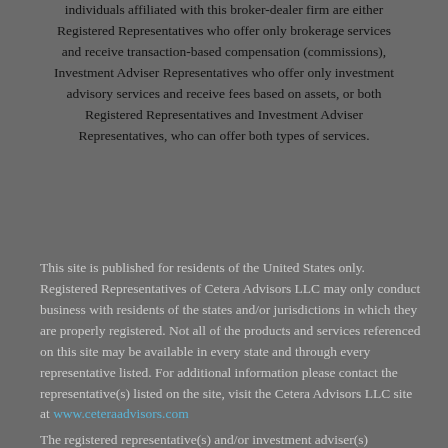individuals affiliated with this broker-dealer firm are either Registered Representatives who offer only brokerage services and receive transaction-based compensation (commissions), Investment Adviser Representatives who offer only investment advisory services and receive fees based on assets, or both Registered Representatives and Investment Adviser Representatives, who can offer both types of services.
This site is published for residents of the United States only. Registered Representatives of Cetera Advisors LLC may only conduct business with residents of the states and/or jurisdictions in which they are properly registered. Not all of the products and services referenced on this site may be available in every state and through every representative listed. For additional information please contact the representative(s) listed on the site, visit the Cetera Advisors LLC site at www.ceteraadvisors.com
The registered representative(s) and/or investment adviser(s)...